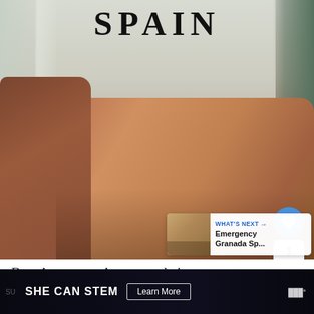[Figure (photo): Interior room photo with a brown leather/suede sofa in the foreground, sheer white curtains and a window in the background, with 'SPAIN' text overlaid at the top in bold serif font. Social media UI elements visible: heart/like button (blue circle), count '1', share button.]
WHAT'S NEXT → Emergency Granada Sp...
Best Apartment Accommodation
SHE CAN STEM  Learn More